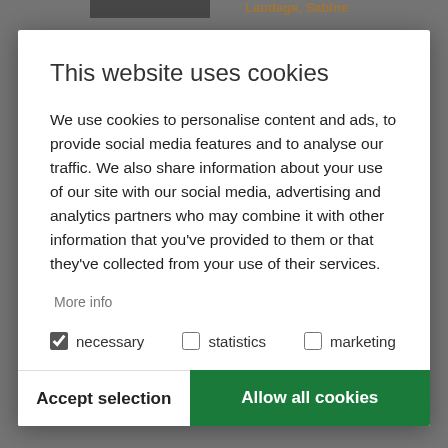This website uses cookies
We use cookies to personalise content and ads, to provide social media features and to analyse our traffic. We also share information about your use of our site with our social media, advertising and analytics partners who may combine it with other information that you've provided to them or that they've collected from your use of their services.
More info
necessary  statistics  marketing
Accept selection   Allow all cookies